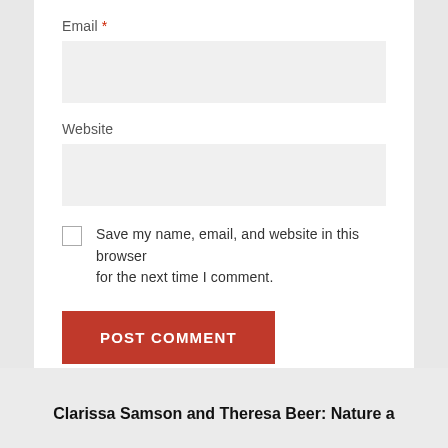Email *
Website
Save my name, email, and website in this browser for the next time I comment.
POST COMMENT
Clarissa Samson and Theresa Beer: Nature a